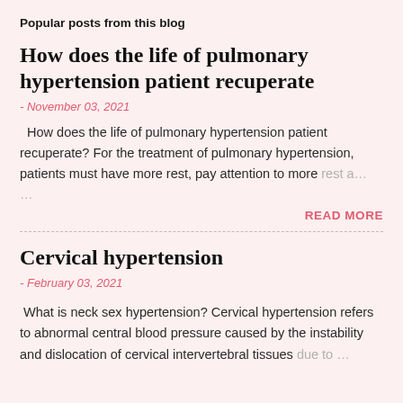Popular posts from this blog
How does the life of pulmonary hypertension patient recuperate
- November 03, 2021
How does the life of pulmonary hypertension patient recuperate? For the treatment of pulmonary hypertension, patients must have more rest, pay attention to more rest a… …
READ MORE
Cervical hypertension
- February 03, 2021
What is neck sex hypertension? Cervical hypertension refers to abnormal central blood pressure caused by the instability and dislocation of cervical intervertebral tissues due to …